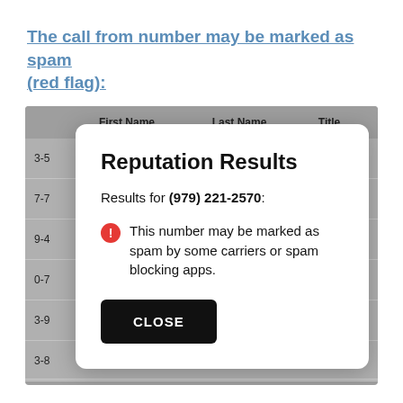The call from number may be marked as spam (red flag):
[Figure (screenshot): A screenshot of a data table partially obscured by a modal dialog. The table shows columns: First Name, Last Name, Title with row numbers visible (3-5, 7-7, 9-4, 0-7, 3-9, 3-8). The modal dialog is titled 'Reputation Results' and shows: 'Results for (979) 221-2570:' followed by a red warning icon and text 'This number may be marked as spam by some carriers or spam blocking apps.' A black CLOSE button appears at the bottom of the modal.]